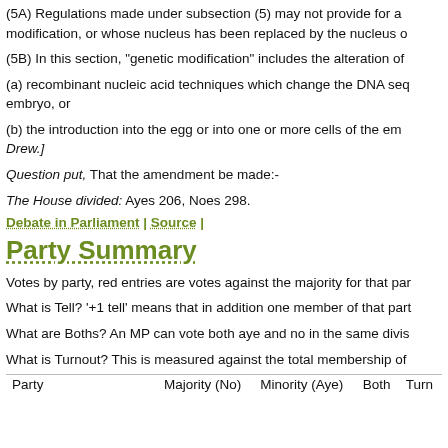(5A) Regulations made under subsection (5) may not provide for a modification, or whose nucleus has been replaced by the nucleus of
(5B) In this section, "genetic modification" includes the alteration of
(a) recombinant nucleic acid techniques which change the DNA seq embryo, or
(b) the introduction into the egg or into one or more cells of the emb Drew.]
Question put, That the amendment be made:-
The House divided: Ayes 206, Noes 298.
Debate in Parliament | Source |
Party Summary
Votes by party, red entries are votes against the majority for that par
What is Tell? '+1 tell' means that in addition one member of that part
What are Boths? An MP can vote both aye and no in the same divis
What is Turnout? This is measured against the total membership of
| Party | Majority (No) | Minority (Aye) | Both | Turn |
| --- | --- | --- | --- | --- |